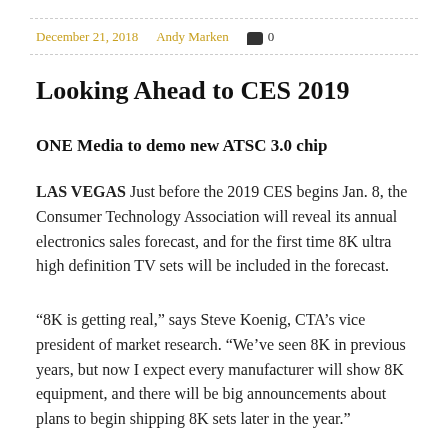December 21, 2018   Andy Marken   0
Looking Ahead to CES 2019
ONE Media to demo new ATSC 3.0 chip
LAS VEGAS Just before the 2019 CES begins Jan. 8, the Consumer Technology Association will reveal its annual electronics sales forecast, and for the first time 8K ultra high definition TV sets will be included in the forecast.
“8K is getting real,” says Steve Koenig, CTA’s vice president of market research. “We’ve seen 8K in previous years, but now I expect every manufacturer will show 8K equipment, and there will be big announcements about plans to begin shipping 8K sets later in the year.”